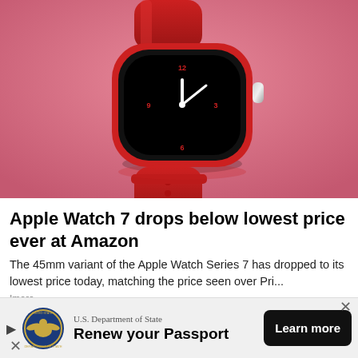[Figure (photo): Apple Watch Series 7 in red/Product Red colorway with red sport band, displayed against a pink/rose background. The watch face shows a dark clock face with white hands.]
Apple Watch 7 drops below lowest price ever at Amazon
The 45mm variant of the Apple Watch Series 7 has dropped to its lowest price today, matching the price seen over Pri...
Imore
[Figure (photo): Bottom partial strip of another article image, brownish/earthy tones.]
[Figure (other): Advertisement banner: U.S. Department of State seal logo on left, text 'U.S. Department of State' and 'Renew your Passport' with a 'Learn more' dark button on the right.]